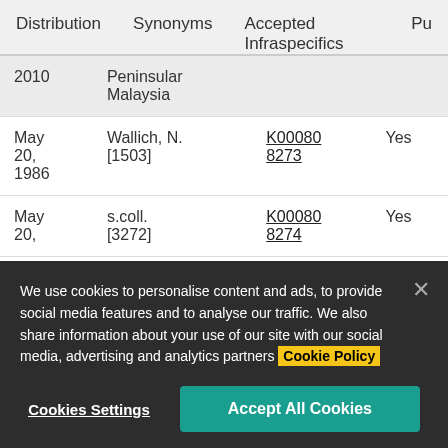Distribution   Synonyms   Accepted Infraspecifics   Pu
| Date | Collector | Code | Accepted |
| --- | --- | --- | --- |
| 2010 | Peninsular Malaysia |  |  |
| May 20, 1986 | Wallich, N. [1503] | K000808273 | Yes |
| May 20, | s.coll. [3272] | K000808274 | Yes |
We use cookies to personalise content and ads, to provide social media features and to analyse our traffic. We also share information about your use of our site with our social media, advertising and analytics partners Cookie Policy
Cookies Settings   Accept All Cookies